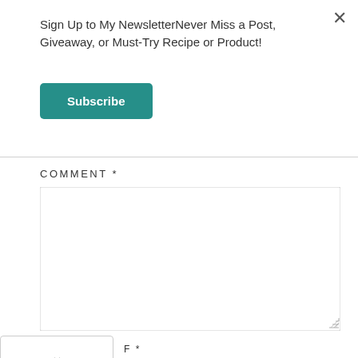Sign Up to My NewsletterNever Miss a Post, Giveaway, or Must-Try Recipe or Product!
Subscribe
COMMENT *
[Figure (screenshot): Empty comment textarea input box with resize handle]
F *
[Figure (infographic): Hair Cuttery advertisement banner: Book a Same Day Appointment, Hair Cuttery, with HC logo and blue diamond navigation icon]